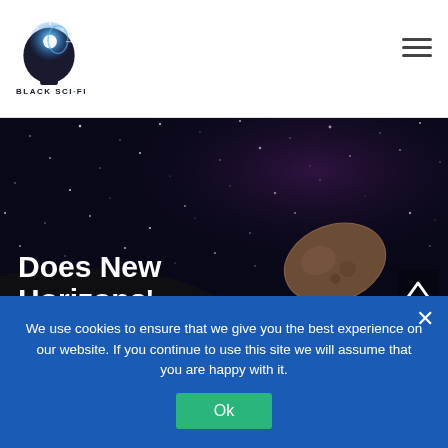[Figure (logo): Black Sci-Fi website logo: silhouette of a head with a bright light/star burst, forming a 'B' shape, with text 'BLACK SCI·FI' below]
[Figure (photo): Dark starfield space background with a rocky asteroid/comet visible in lower right portion of the image]
Does New Horizons'
We use cookies to ensure that we give you the best experience on our website. If you continue to use this site we will assume that you are happy with it.
Ok